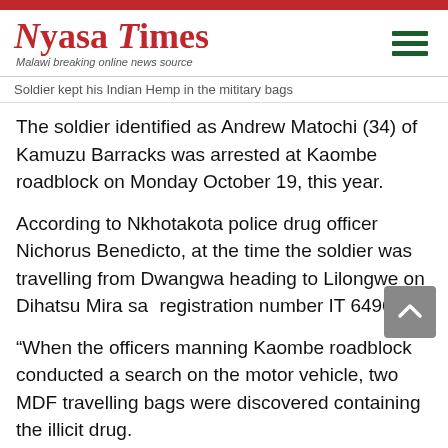Nyasa Times — Malawi breaking online news source
Soldier kept his Indian Hemp in the mititary bags
The soldier identified as Andrew Matochi (34) of Kamuzu Barracks was arrested at Kaombe roadblock on Monday October 19, this year.
According to Nkhotakota police drug officer Nichorus Benedicto, at the time the soldier was travelling from Dwangwa heading to Lilongwe on Dihatsu Mira sa registration number IT 6496.
“When the officers manning Kaombe roadblock conducted a search on the motor vehicle, two MDF travelling bags were discovered containing the illicit drug.
“The police instantly arrested their fellow security officer